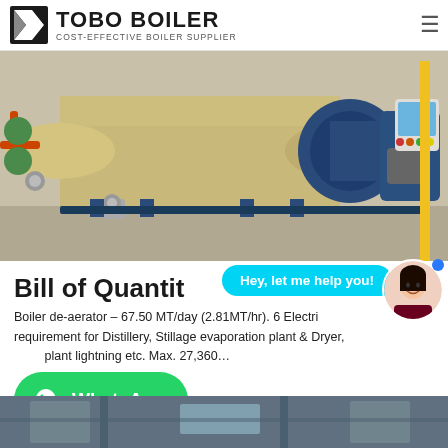TOBO BOILER — COST-EFFECTIVE BOILER SUPPLIER
[Figure (photo): Industrial fire-tube steam boiler with blue burner unit and control panel, installed in a factory setting]
Bill of Quantities
Boiler de-aerator – 67.50 MT/day (2.81MT/hr). 6 Electrical requirement for Distillery, Stillage evaporation plant & Dryer, plant lightning etc. Max. 27,360…
[Figure (photo): Partial view of industrial equipment/piping at bottom of page]